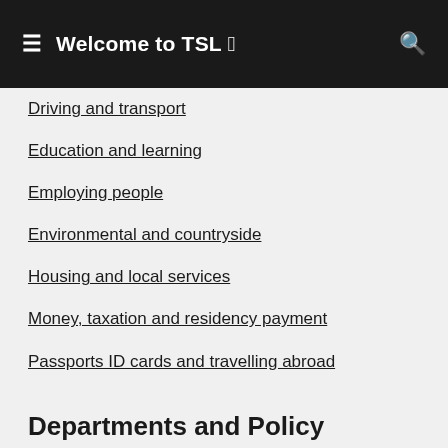Welcome to TSL 🇳🇮
Driving and transport
Education and learning
Employing people
Environmental and countryside
Housing and local services
Money, taxation and residency payment
Passports ID cards and travelling abroad
Visas and immigration
Departments and Policy